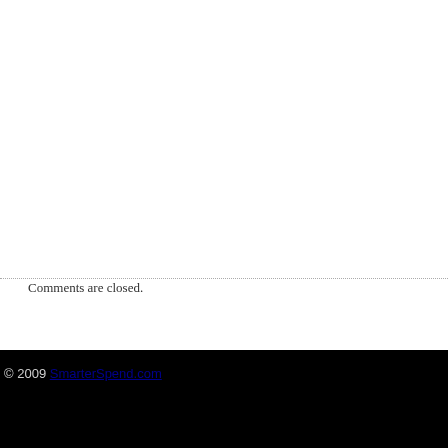Comments are closed.
© 2009 SmarterSpend.com